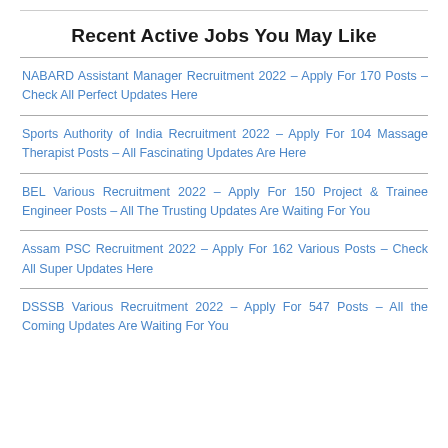Recent Active Jobs You May Like
NABARD Assistant Manager Recruitment 2022 – Apply For 170 Posts – Check All Perfect Updates Here
Sports Authority of India Recruitment 2022 – Apply For 104 Massage Therapist Posts – All Fascinating Updates Are Here
BEL Various Recruitment 2022 – Apply For 150 Project & Trainee Engineer Posts – All The Trusting Updates Are Waiting For You
Assam PSC Recruitment 2022 – Apply For 162 Various Posts – Check All Super Updates Here
DSSSB Various Recruitment 2022 – Apply For 547 Posts – All the Coming Updates Are Waiting For You